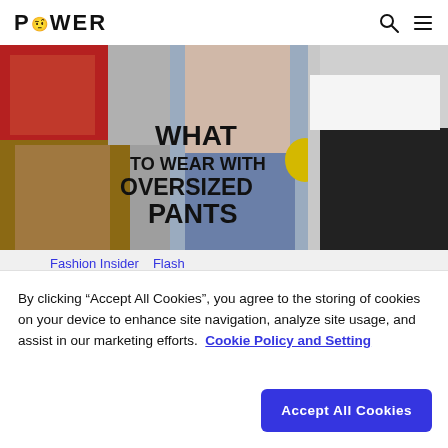POWER
[Figure (photo): Fashion collage showing models wearing oversized pants with text overlay reading WHAT TO WEAR WITH OVERSIZED PANTS]
Fashion Insider  Flash
FASHION INSIDER
By clicking “Accept All Cookies”, you agree to the storing of cookies on your device to enhance site navigation, analyze site usage, and assist in our marketing efforts.  Cookie Policy and Setting
Accept All Cookies